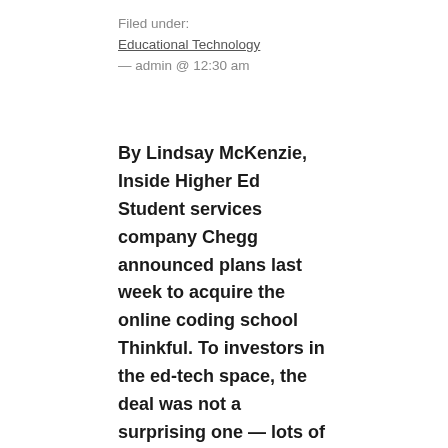Filed under:
Educational Technology
— admin @ 12:30 am
By Lindsay McKenzie, Inside Higher Ed Student services company Chegg announced plans last week to acquire the online coding school Thinkful. To investors in the ed-tech space, the deal was not a surprising one — lots of ed-tech companies have been busy acquiring boot camps of late. Earlier this year, online program